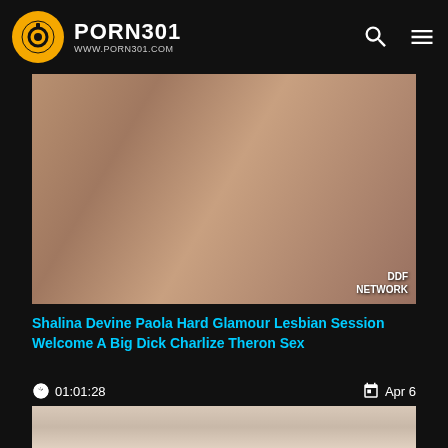PORN301 WWW.PORN301.COM
[Figure (photo): Video thumbnail showing adult content with DDF NETWORK watermark]
Shalina Devine Paola Hard Glamour Lesbian Session Welcome A Big Dick Charlize Theron Sex
01:01:28   Apr 6
[Figure (photo): Second video thumbnail showing adult content]